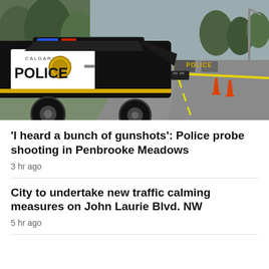[Figure (photo): Calgary Police car with 'POLICE' written on the door, parked on a street with yellow police tape and orange traffic cones visible in the background. Trees and a road with vehicles are in the background.]
'I heard a bunch of gunshots': Police probe shooting in Penbrooke Meadows
3 hr ago
City to undertake new traffic calming measures on John Laurie Blvd. NW
5 hr ago